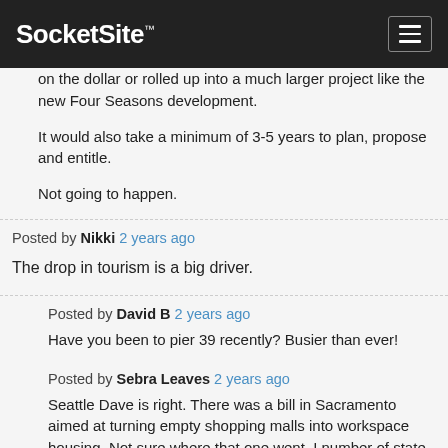SocketSite™
on the dollar or rolled up into a much larger project like the new Four Seasons development.

It would also take a minimum of 3-5 years to plan, propose and entitle.

Not going to happen.
Posted by Nikki 2 years ago
The drop in tourism is a big driver.
Posted by David B 2 years ago
Have you been to pier 39 recently? Busier than ever!
Posted by Sebra Leaves 2 years ago
Seattle Dave is right. There was a bill in Sacramento aimed at turning empty shopping malls into workspace housing. Not sure where that one went. I number of state legislators and some of our SF supervisors are considering this option. Pay attention to the Land Use Committee meetings on Monday if you want to get the right answers and conversations at the